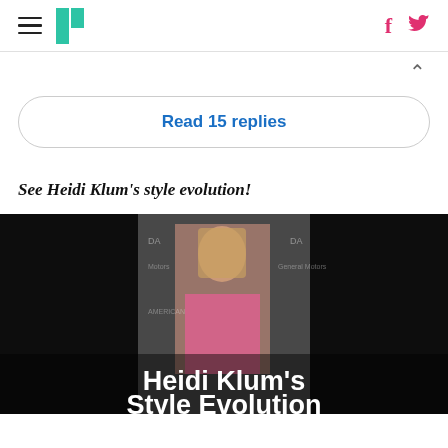HuffPost navigation header with menu, logo, facebook and twitter icons
Read 15 replies
See Heidi Klum's style evolution!
[Figure (photo): Gallery image of Heidi Klum at an event with a branded backdrop, wearing a pink outfit. Overlay text reads: Heidi Klum's Style Evolution]